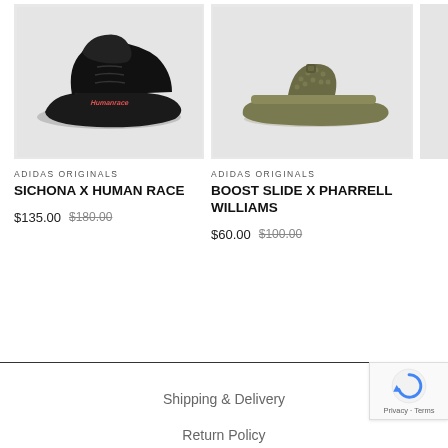[Figure (photo): Black Adidas Originals Sichona X Human Race sneaker on grey background]
ADIDAS ORIGINALS
SICHONA X HUMAN RACE
$135.00 $180.00
[Figure (photo): Olive/khaki Adidas Originals Boost Slide X Pharrell Williams sandal on grey background]
ADIDAS ORIGINALS
BOOST SLIDE X PHARRELL WILLIAMS
$60.00 $100.00
Shipping & Delivery
Return Policy
FAQs